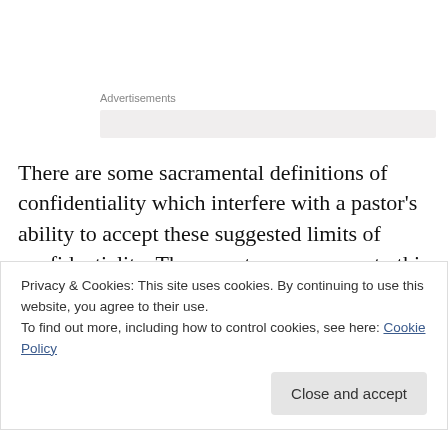Advertisements
There are some sacramental definitions of confidentiality which interfere with a pastor's ability to accept these suggested limits of confidentiality. There are two responses to this problem. One is to clearly distinguish general pastoral counseling from the sacrament of confession and absolution of sins. It may be possible to
Privacy & Cookies: This site uses cookies. By continuing to use this website, you agree to their use.
To find out more, including how to control cookies, see here: Cookie Policy
Close and accept